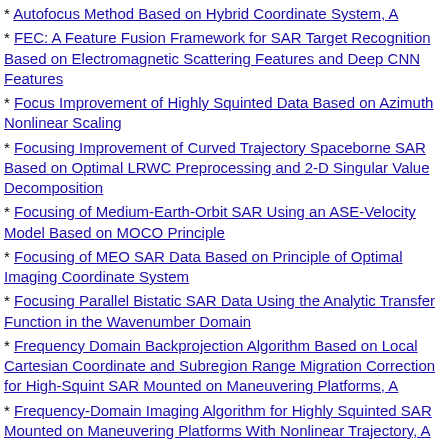Autofocus Method Based on Hybrid Coordinate System, A
FEC: A Feature Fusion Framework for SAR Target Recognition Based on Electromagnetic Scattering Features and Deep CNN Features
Focus Improvement of Highly Squinted Data Based on Azimuth Nonlinear Scaling
Focusing Improvement of Curved Trajectory Spaceborne SAR Based on Optimal LRWC Preprocessing and 2-D Singular Value Decomposition
Focusing of Medium-Earth-Orbit SAR Using an ASE-Velocity Model Based on MOCO Principle
Focusing of MEO SAR Data Based on Principle of Optimal Imaging Coordinate System
Focusing Parallel Bistatic SAR Data Using the Analytic Transfer Function in the Wavenumber Domain
Frequency Domain Backprojection Algorithm Based on Local Cartesian Coordinate and Subregion Range Migration Correction for High-Squint SAR Mounted on Maneuvering Platforms, A
Frequency-Domain Imaging Algorithm for Highly Squinted SAR Mounted on Maneuvering Platforms With Nonlinear Trajectory, A
Full-Aperture Focusing of Very High Resolution Spaceborne-Squinted Sliding Spotlight SAR Data
High-Resolution Three-Dimensional Imaging of Spinning Space Debris